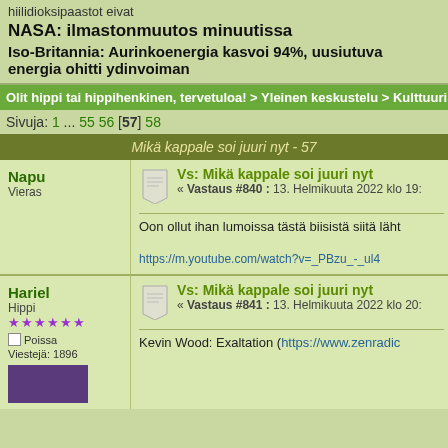hiilidioksipaastot eivat
NASA: ilmastonmuutos minuutissa
Iso-Britannia: Aurinkoenergia kasvoi 94%, uusiutuva energia ohitti ydinvoiman
Olit hippi tai hippihenkinen, tervetuloa! > Yleinen keskustelu > Kulttuuri > Älppäri > Mikä kapp...
Sivuja: 1 ... 55 56 [57] 58
Mikä kappale soi juuri nyt - 57
Napu
Vieras
Vs: Mikä kappale soi juuri nyt
« Vastaus #840 : 13. Helmikuuta 2022 klo 19:
Oon ollut ihan lumoissa tästä biisistä siitä läht...
https://m.youtube.com/watch?v=_PBzu_-_ul4...
Hariel
Hippi
Poissa
Viestejä: 1896
Vs: Mikä kappale soi juuri nyt
« Vastaus #841 : 13. Helmikuuta 2022 klo 20:
Kevin Wood: Exaltation (https://www.zenradi...